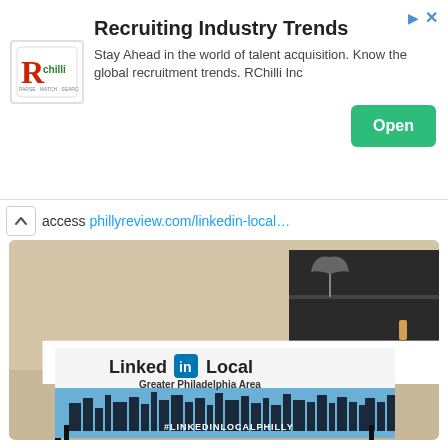[Figure (other): RChilli advertisement banner with logo, title 'Recruiting Industry Trends', description text, and green Open button]
access phillyreview.com/linkedin-local…
[Figure (photo): Photo of a LinkedInLocal Greater Philadelphia Area banner sign with city skyline and #LINKEDINLOCALPHILLY hashtag]
[Figure (other): Tweet from Philly Review (@Phill...) dated Jun 28, 2018 with text: An Imaginative Way to Explore a History of Democratic N...]
An Imaginative Way to Explore a History of Democratic N...